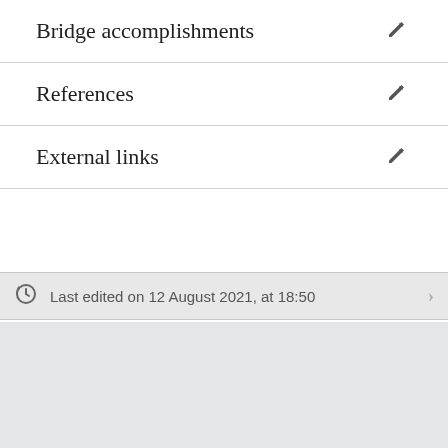Bridge accomplishments
References
External links
Last edited on 12 August 2021, at 18:50